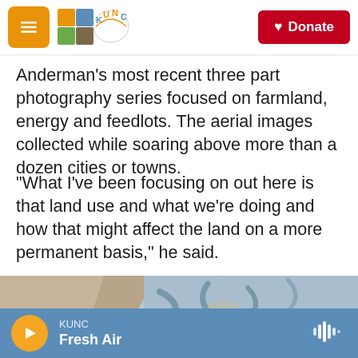KUNC – Donate
Anderman's most recent three part photography series focused on farmland, energy and feedlots. The aerial images collected while soaring above more than a dozen cities or towns.
"What I've been focusing on out here is that land use and what we're doing and how that might affect the land on a more permanent basis," he said.
[Figure (photo): Aerial photograph of farmland showing sandy/earthen terrain with meandering water channels from above]
KUNC – Fresh Air (audio player)